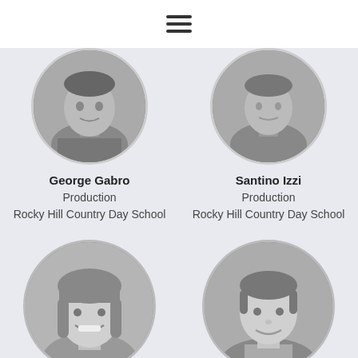[Figure (other): Hamburger menu icon (three horizontal lines) in a white top navigation bar]
[Figure (photo): Circular cropped black and white headshot photo of George Gabro, partially visible at top]
George Gabro
Production
Rocky Hill Country Day School
[Figure (photo): Circular cropped black and white headshot photo of Santino Izzi, partially visible at top]
Santino Izzi
Production
Rocky Hill Country Day School
[Figure (photo): Circular black and white headshot photo of a smiling young woman with straight bangs]
[Figure (photo): Circular black and white headshot photo of a smiling young man]